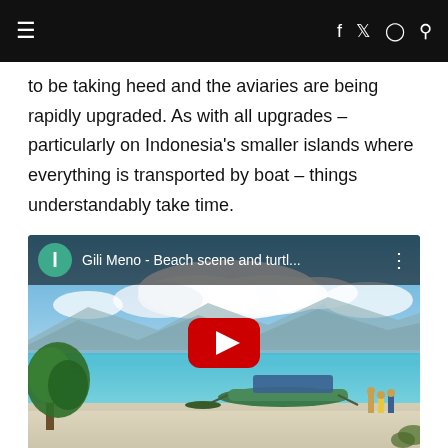≡   f  🐦  📷  🔍
to be taking heed and the aviaries are being rapidly upgraded. As with all upgrades – particularly on Indonesia's smaller islands where everything is transported by boat – things understandably take time.
[Figure (screenshot): YouTube video thumbnail for 'Gili Meno - Beach scene and turtl...' showing a tropical beach with turquoise water, a traditional boat, trees, people, and mountains in the background. A red YouTube play button is centered on the image. The video header shows a teal avatar with letter 'l' and the video title.]